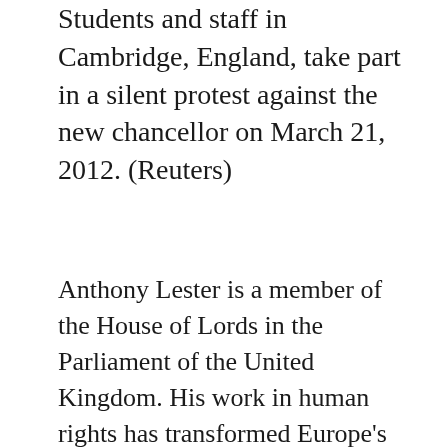Students and staff in Cambridge, England, take part in a silent protest against the new chancellor on March 21, 2012. (Reuters)
Anthony Lester is a member of the House of Lords in the Parliament of the United Kingdom. His work in human rights has transformed Europe's legal landscape, and perhaps more than anyone else he has made the First Amendment globally